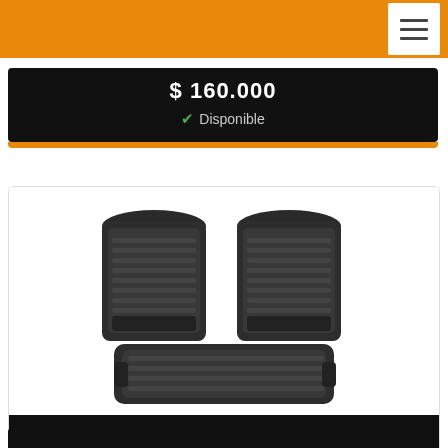[Figure (screenshot): Orange navigation bar with white hamburger menu icon on the right]
$ 160.000
✔ Disponible
[Figure (photo): Black rubber car floor mats set (front and rear) for Volkswagen Amarok, brand AWKA, shown on white background]
PISOS MARCA AWKA (DELANTEROS Y TRASEROS) PARA VOLKSWAGEN AMAROK 2010+
$ 160.000
✔ Disponible